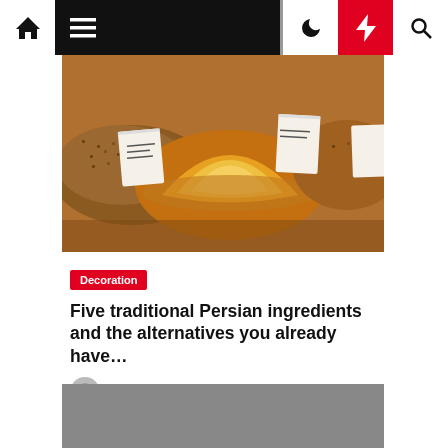Navigation bar with home, menu, moon, bolt, and search icons
[Figure (photo): Overhead view of colorful spices in bowls at a market — yellow turmeric mound in center, brown spices on the left, with handwritten price tags visible]
Decoration
Five traditional Persian ingredients and the alternatives you already have…
Emilee Geist  1 year ago
[Figure (photo): Gray placeholder image for second article card]